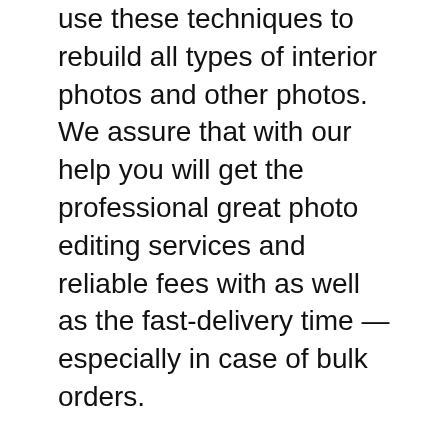use these techniques to rebuild all types of interior photos and other photos. We assure that with our help you will get the professional great photo editing services and reliable fees with as well as the fast-delivery time — especially in case of bulk orders.
Tell me about your project. You can upload the raw files as well as the files of the other formats. Results were quite shocking for me.
In this course, Restoring Old and Damaged Photos in Photoshop, you'll examine a photograph taken in that has severely faded over the years. We'll use only photo-bashing techniques, so no drawing skills or Wacom tablet required.
Create account, log in and send us your photo to retouch up. Though driving in the city gave me serious anxiety if there are traffic laws in Costa Rica, no one appears to obey themonce you get out into the country, driving is